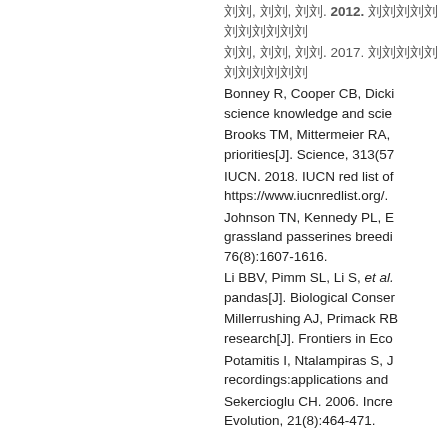刘, 刘, 刘. 2017. 刘刘刘刘刘刘刘刘刘刘
Bonney R, Cooper CB, Dicki... science knowledge and scie...
Brooks TM, Mittermeier RA, ... priorities[J]. Science, 313(57...
IUCN. 2018. IUCN red list of... https://www.iucnredlist.org/.
Johnson TN, Kennedy PL, E... grassland passerines breedi... 76(8):1607-1616.
Li BBV, Pimm SL, Li S, et al... pandas[J]. Biological Conser...
Millerrushing AJ, Primack RB... research[J]. Frontiers in Eco...
Potamitis I, Ntalampiras S, J... recordings:applications and ...
Sekercioglu CH. 2006. Incre... Evolution, 21(8):464-471.